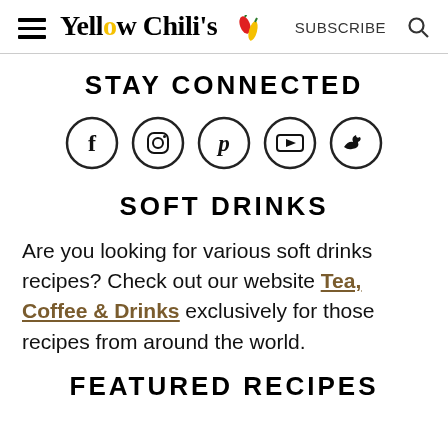Yellow Chili's   SUBSCRIBE
STAY CONNECTED
[Figure (illustration): Five social media icons in circles: Facebook (f), Instagram (camera/square), Pinterest (p), YouTube (play button), Twitter (bird)]
SOFT DRINKS
Are you looking for various soft drinks recipes? Check out our website Tea, Coffee & Drinks exclusively for those recipes from around the world.
FEATURED RECIPES